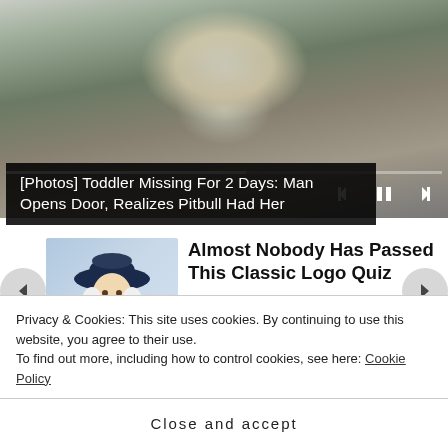[Figure (photo): Video player showing a young girl smiling and holding a teddy bear, with a video progress bar and playback controls (skip back, pause, skip forward) at the bottom.]
[Photos] Toddler Missing For 2 Days: Man Opens Door, Realizes Pitbull Had Her
[Figure (illustration): Thumbnail image of an elderly man wearing a cowboy hat and white hair, resembling a classic logo character.]
Almost Nobody Has Passed This Classic Logo Quiz
Privacy & Cookies: This site uses cookies. By continuing to use this website, you agree to their use.
To find out more, including how to control cookies, see here: Cookie Policy
Close and accept